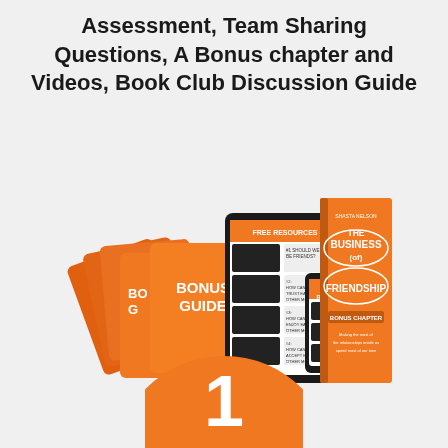Assessment, Team Sharing Questions, A Bonus chapter and Videos, Book Club Discussion Guide
[Figure (illustration): Product bundle image showing orange bonus guide cards fanned out on the left, a tablet displaying 'Free Resources' video list in the center, a smartphone showing 'Free Resources', and an orange book titled 'The Business of Friendship' by Shasta Nelson with 'Bonus Chapter' on the right.]
[Figure (illustration): Large orange circle with a white number 1 inside, partially cropped at the bottom of the page.]